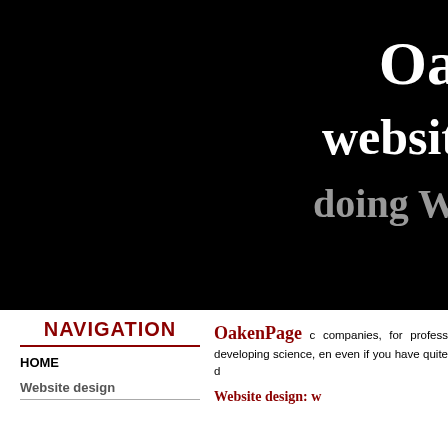[Figure (screenshot): Black banner header with white bold text 'Oa' (truncated), 'websit' (truncated), and gray text 'doing W' (truncated) on right side]
NAVIGATION
HOME
Website design
OakenPage c... companies, for profess... developing science, en... even if you have quite d...
Website design: w...